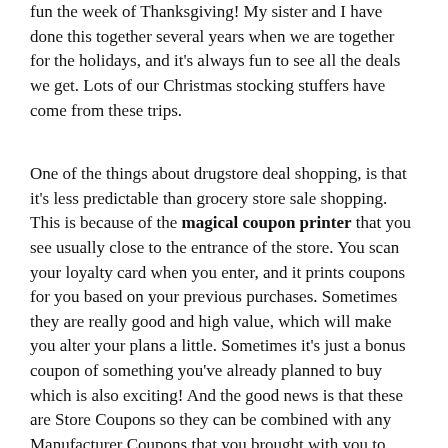fun the week of Thanksgiving! My sister and I have done this together several years when we are together for the holidays, and it's always fun to see all the deals we get. Lots of our Christmas stocking stuffers have come from these trips.
One of the things about drugstore deal shopping, is that it's less predictable than grocery store sale shopping. This is because of the magical coupon printer that you see usually close to the entrance of the store. You scan your loyalty card when you enter, and it prints coupons for you based on your previous purchases. Sometimes they are really good and high value, which will make you alter your plans a little. Sometimes it's just a bonus coupon of something you've already planned to buy which is also exciting! And the good news is that these are Store Coupons so they can be combined with any Manufacturer Coupons that you brought with you to shop on the very same products for additional savings!